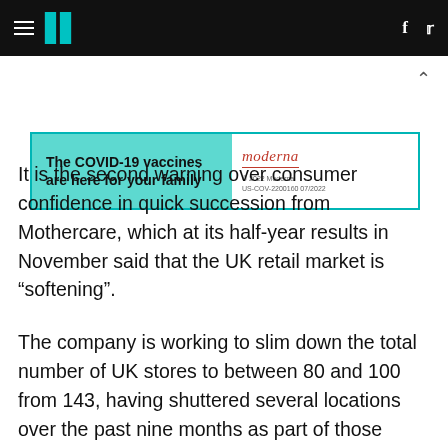HuffPost navigation with hamburger menu, logo, Facebook and Twitter icons
[Figure (other): Moderna COVID-19 vaccine advertisement banner: 'The COVID-19 vaccines are here for your family' with Moderna logo and fine print '© 2022 Moderna US-COV-2200160 07/2022']
It is the second warning over consumer confidence in quick succession from Mothercare, which at its half-year results in November said that the UK retail market is “softening”.
The company is working to slim down the total number of UK stores to between 80 and 100 from 143, having shuttered several locations over the past nine months as part of those plans.
The chief executive added: “In line with previous announcements and as part of our